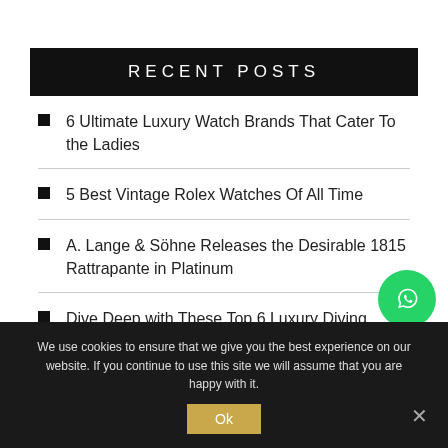RECENT POSTS
6 Ultimate Luxury Watch Brands That Cater To the Ladies
5 Best Vintage Rolex Watches Of All Time
A. Lange & Söhne Releases the Desirable 1815 Rattrapante in Platinum
Dive Deep with These Top 6 Luxury Diving Watches
Vacheron Constantin Throws Winning Cards With The 2022 Novelties
We use cookies to ensure that we give you the best experience on our website. If you continue to use this site we will assume that you are happy with it.
[Figure (other): WhatsApp contact button (green circle with WhatsApp logo)]